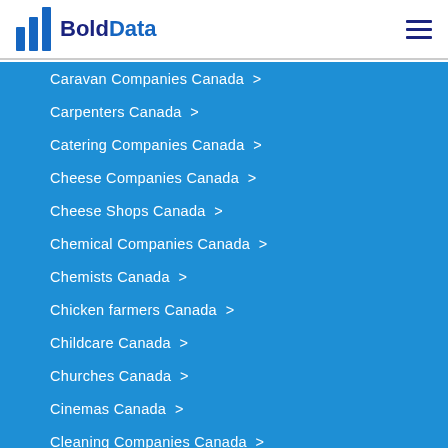BoldData
Caravan Companies Canada >
Carpenters Canada >
Catering Companies Canada >
Cheese Companies Canada >
Cheese Shops Canada >
Chemical Companies Canada >
Chemists Canada >
Chicken farmers Canada >
Childcare Canada >
Churches Canada >
Cinemas Canada >
Cleaning Companies Canada >
Clothing Companies Canada >